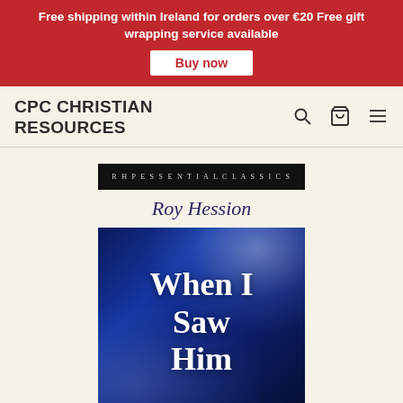Free shipping within Ireland for orders over €20 Free gift wrapping service available
Buy now
CPC CHRISTIAN RESOURCES
[Figure (illustration): Book cover for 'When I Saw Him' by Roy Hession, RHP Essential Classics series. Dark blue background with smoke/light effects. White serif title text reading 'When I Saw Him'.]